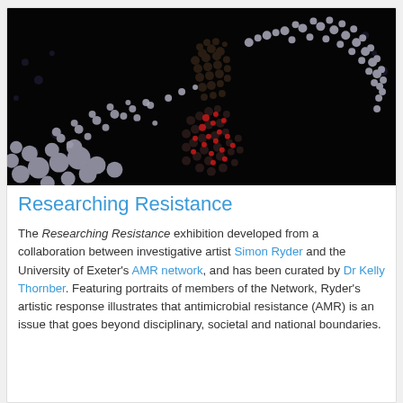[Figure (photo): A digital art portrait of a human figure composed of dark particles/spheres on a black background, with red and grey particle streams sweeping around them, suggesting antimicrobial resistance imagery.]
Researching Resistance
The Researching Resistance exhibition developed from a collaboration between investigative artist Simon Ryder and the University of Exeter's AMR network, and has been curated by Dr Kelly Thornber. Featuring portraits of members of the Network, Ryder's artistic response illustrates that antimicrobial resistance (AMR) is an issue that goes beyond disciplinary, societal and national boundaries.